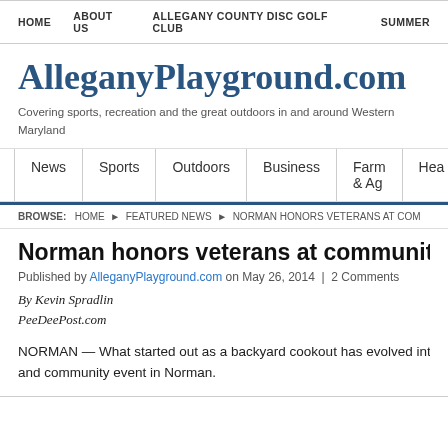HOME   ABOUT US   ALLEGANY COUNTY DISC GOLF CLUB   SUMMER
AlleganyPlayground.com
Covering sports, recreation and the great outdoors in and around Western Maryland
News   Sports   Outdoors   Business   Farm & Ag   Hea
BROWSE:   HOME ▶ FEATURED NEWS ▶ NORMAN HONORS VETERANS AT COM
Norman honors veterans at community ce
Published by AlleganyPlayground.com on May 26, 2014  |  2 Comments
By Kevin Spradlin
PeeDeePost.com
NORMAN — What started out as a backyard cookout has evolved into a full-blow and community event in Norman.